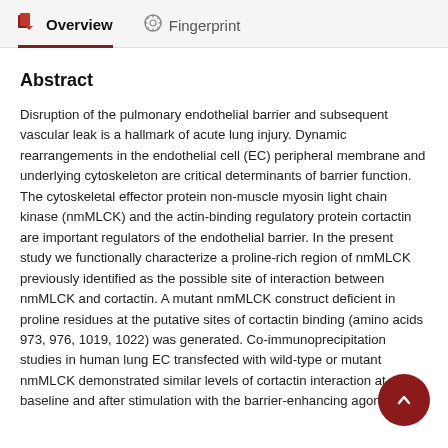Overview   Fingerprint
Abstract
Disruption of the pulmonary endothelial barrier and subsequent vascular leak is a hallmark of acute lung injury. Dynamic rearrangements in the endothelial cell (EC) peripheral membrane and underlying cytoskeleton are critical determinants of barrier function. The cytoskeletal effector protein non-muscle myosin light chain kinase (nmMLCK) and the actin-binding regulatory protein cortactin are important regulators of the endothelial barrier. In the present study we functionally characterize a proline-rich region of nmMLCK previously identified as the possible site of interaction between nmMLCK and cortactin. A mutant nmMLCK construct deficient in proline residues at the putative sites of cortactin binding (amino acids 973, 976, 1019, 1022) was generated. Co-immunoprecipitation studies in human lung EC transfected with wild-type or mutant nmMLCK demonstrated similar levels of cortactin interaction at baseline and after stimulation with the barrier-enhancing agonist.